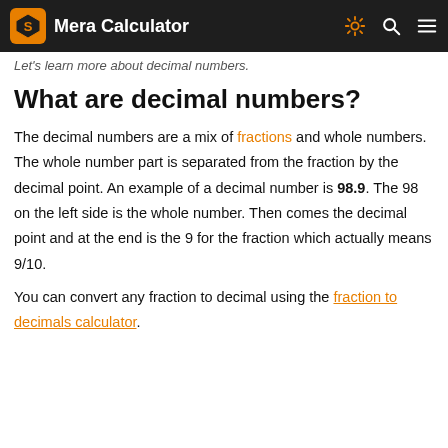Mera Calculator
Let's learn more about decimal numbers.
What are decimal numbers?
The decimal numbers are a mix of fractions and whole numbers. The whole number part is separated from the fraction by the decimal point. An example of a decimal number is 98.9. The 98 on the left side is the whole number. Then comes the decimal point and at the end is the 9 for the fraction which actually means 9/10.
You can convert any fraction to decimal using the fraction to decimals calculator.